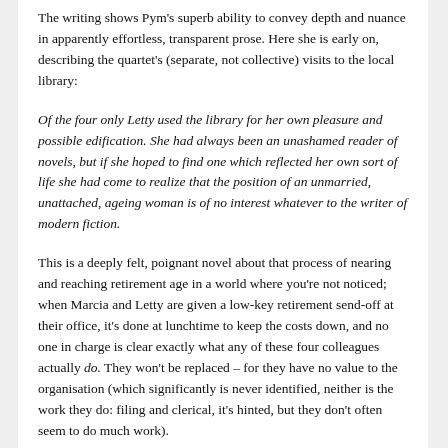The writing shows Pym's superb ability to convey depth and nuance in apparently effortless, transparent prose. Here she is early on, describing the quartet's (separate, not collective) visits to the local library:
Of the four only Letty used the library for her own pleasure and possible edification. She had always been an unashamed reader of novels, but if she hoped to find one which reflected her own sort of life she had come to realize that the position of an unmarried, unattached, ageing woman is of no interest whatever to the writer of modern fiction.
This is a deeply felt, poignant novel about that process of nearing and reaching retirement age in a world where you're not noticed; when Marcia and Letty are given a low-key retirement send-off at their office, it's done at lunchtime to keep the costs down, and no one in charge is clear exactly what any of these four colleagues actually do. They won't be replaced – for they have no value to the organisation (which significantly is never identified, neither is the work they do: filing and clerical, it's hinted, but they don't often seem to do much work).